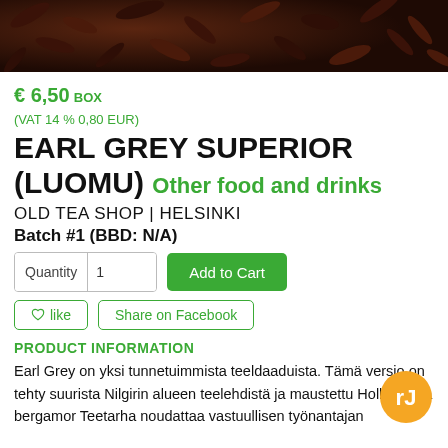[Figure (photo): Close-up photo of dark loose-leaf tea leaves filling the top portion of the page]
€ 6,50 BOX
(VAT 14 % 0,80 EUR)
EARL GREY SUPERIOR (LUOMU) Other food and drinks
OLD TEA SHOP | HELSINKI
Batch #1 (BBD: N/A)
Quantity 1   Add to Cart
♡ like   Share on Facebook
PRODUCT INFORMATION
Earl Grey on yksi tunnetuimmista teeldaaduista. Tämä versio on tehty suurista Nilgirin alueen teelehdistä ja maustettu Hollannissa bergamor Teetarha noudattaa vastuullisen työnantajan